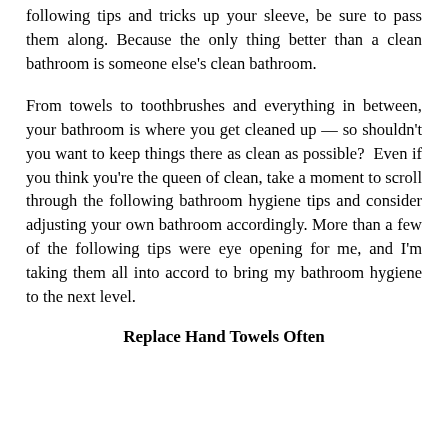following tips and tricks up your sleeve, be sure to pass them along. Because the only thing better than a clean bathroom is someone else's clean bathroom.
From towels to toothbrushes and everything in between, your bathroom is where you get cleaned up — so shouldn't you want to keep things there as clean as possible? Even if you think you're the queen of clean, take a moment to scroll through the following bathroom hygiene tips and consider adjusting your own bathroom accordingly. More than a few of the following tips were eye opening for me, and I'm taking them all into accord to bring my bathroom hygiene to the next level.
Replace Hand Towels Often